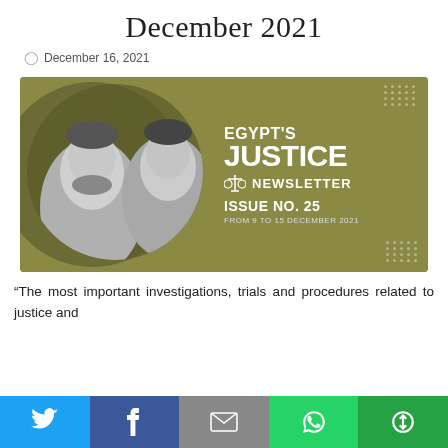December 2021
December 16, 2021
[Figure (illustration): Egypt's Justice Newsletter Issue No. 25, from 9 to 15 December 2021. Features two monochrome portrait photos of men on an olive/khaki background with decorative dot grids.]
“The most important investigations, trials and procedures related to justice and
Social share buttons: Twitter, Facebook, Email, WhatsApp, Other